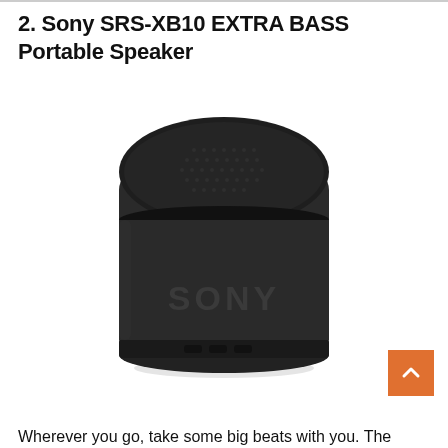2. Sony SRS-XB10 EXTRA BASS Portable Speaker
[Figure (photo): Black Sony SRS-XB10 EXTRA BASS portable Bluetooth speaker, cylindrical shape with mesh top and SONY logo on side]
Wherever you go, take some big beats with you. The